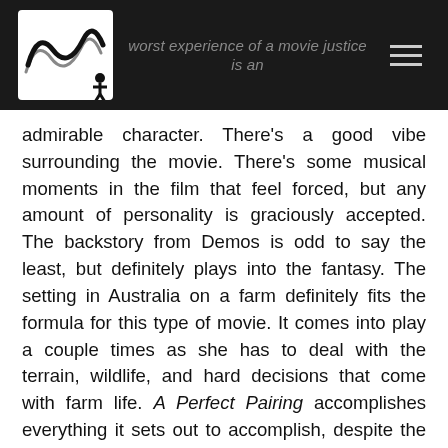worst experience of a movie justice is an admirable character.
admirable character. There's a good vibe surrounding the movie. There's some musical moments in the film that feel forced, but any amount of personality is graciously accepted. The backstory from Demos is odd to say the least, but definitely plays into the fantasy. The setting in Australia on a farm definitely fits the formula for this type of movie. It comes into play a couple times as she has to deal with the terrain, wildlife, and hard decisions that come with farm life. A Perfect Pairing accomplishes everything it sets out to accomplish, despite the bar being extremely low.
All the Nickelodeon girls who grew up watching Victorious will certainly enjoy seeing one of their favorite childhood stars grow up with them will certainly enjoy this movie. A Perfect Pairing is the epitome of cliche TV movie romance with some flashes of personality. Nothing here of any